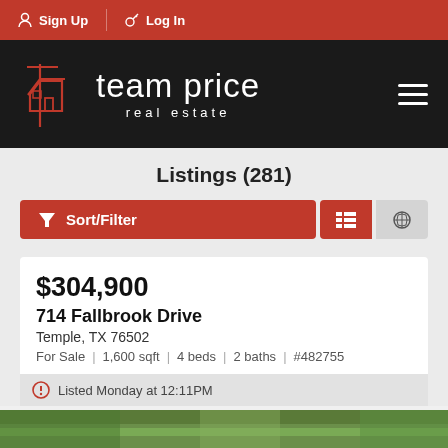Sign Up   Log In
[Figure (logo): Team Price Real Estate logo — house icon with sign post in rust/red outline on black background, with text 'team price real estate']
Listings (281)
Sort/Filter
$304,900
714 Fallbrook Drive
Temple, TX 76502
For Sale | 1,600 sqft | 4 beds | 2 baths | #482755
Listed Monday at 12:11PM
[Figure (photo): Partial view of a property photo showing green lawn/foliage at the bottom of the page]